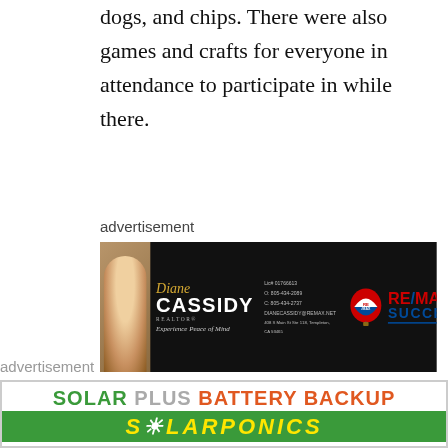dogs, and chips. There were also games and crafts for everyone in attendance to participate in while there.
advertisement
[Figure (photo): RE/MAX Success advertisement featuring Diane Cassidy, Realtor, with RE/MAX balloon logo and contact information]
The Atascadero Wellness Center is one of three wellness centers TMHA operates in San Luis Obispo County. With the other centers in San Luis Obispo and Arroyo Grande.
advertisement
[Figure (infographic): Solarponics advertisement: SOLAR PLUS BATTERY BACKUP in green and orange text, with SOLARPONICS in yellow italic text on green background]